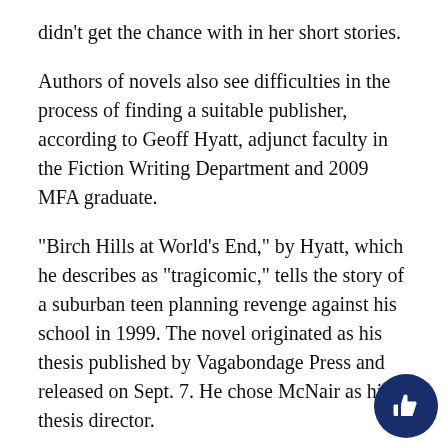didn't get the chance with in her short stories.
Authors of novels also see difficulties in the process of finding a suitable publisher, according to Geoff Hyatt, adjunct faculty in the Fiction Writing Department and 2009 MFA graduate.
“Birch Hills at World’s End,” by Hyatt, which he describes as “tragicomic,” tells the story of a suburban teen planning revenge against his school in 1999. The novel originated as his thesis published by Vagabondage Press and released on Sept. 7. He chose McNair as his thesis director.
He said working with smaller presses like Vagabondage has advantages because the publisher is able to focus more time on the book. Challenges are also involved, though, in terms of distribution, financial issues and the editorial process, Hyatt said. Looking at authors published by a company the past offers a good evaluation of the publisher, he said.